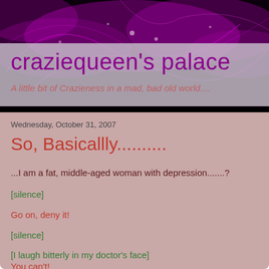craziequeen's palace
A little bit of Crazieness in a mad, bad old world....
Wednesday, October 31, 2007
So, Basicallly..........
...I am a fat, middle-aged woman with depression.......?
[silence]
Go on, deny it!
[silence]
[I laugh bitterly in my doctor's face]
You can't!